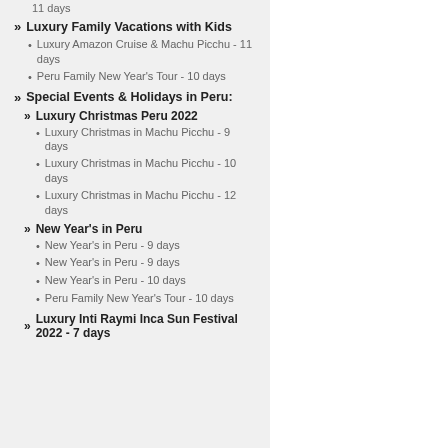11 days
Luxury Family Vacations with Kids
Luxury Amazon Cruise & Machu Picchu - 11 days
Peru Family New Year's Tour - 10 days
Special Events & Holidays in Peru:
Luxury Christmas Peru 2022
Luxury Christmas in Machu Picchu - 9 days
Luxury Christmas in Machu Picchu - 10 days
Luxury Christmas in Machu Picchu - 12 days
New Year's in Peru
New Year's in Peru - 9 days
New Year's in Peru - 9 days
New Year's in Peru - 10 days
Peru Family New Year's Tour - 10 days
Luxury Inti Raymi Inca Sun Festival 2022 - 7 days